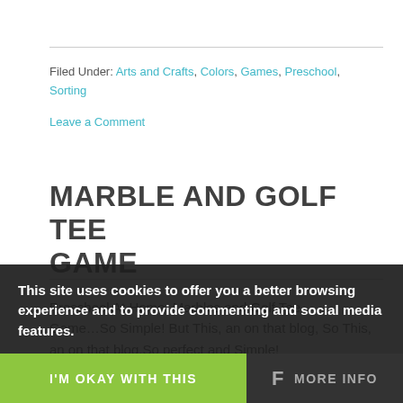Filed Under: Arts and Crafts, Colors, Games, Preschool, Sorting
Leave a Comment
MARBLE AND GOLF TEE GAME
Preschool At Home: Marbles and Golf Tee Game... So Simple! But This, an on that blog, so perfect and simple!
This site uses cookies to offer you a better browsing experience and to provide commenting and social media features.
I'M OKAY WITH THIS
MORE INFO